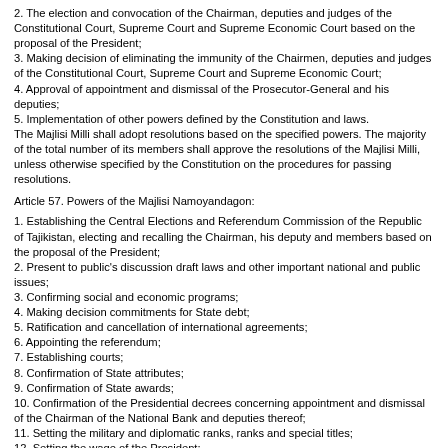2. The election and convocation of the Chairman, deputies and judges of the Constitutional Court, Supreme Court and Supreme Economic Court based on the proposal of the President;
3. Making decision of eliminating the immunity of the Chairmen, deputies and judges of the Constitutional Court, Supreme Court and Supreme Economic Court;
4. Approval of appointment and dismissal of the Prosecutor-General and his deputies;
5. Implementation of other powers defined by the Constitution and laws.
The Majlisi Milli shall adopt resolutions based on the specified powers. The majority of the total number of its members shall approve the resolutions of the Majlisi Milli, unless otherwise specified by the Constitution on the procedures for passing resolutions.
Article 57. Powers of the Majlisi Namoyandagon:
1. Establishing the Central Elections and Referendum Commission of the Republic of Tajikistan, electing and recalling the Chairman, his deputy and members based on the proposal of the President;
2. Present to public's discussion draft laws and other important national and public issues;
3. Confirming social and economic programs;
4. Making decision commitments for State debt;
5. Ratification and cancellation of international agreements;
6. Appointing the referendum;
7. Establishing courts;
8. Confirmation of State attributes;
9. Confirmation of State awards;
10.  Confirmation of the Presidential decrees concerning appointment and dismissal of the Chairman of the National Bank and deputies thereof;
11.  Setting the military and diplomatic ranks, ranks and special titles;
12.  Setting the wage of the President;
13.  Implementation of other powers specified by the Constitution and laws.
The Majlisi Namoyandagon shall adopt resolutions based on its plenary powers. The majority of the total number of its deputies shall decide the resolutions of the Majlisi Namoyandagon, unless otherwise specified by the Constitution on the procedure for passing resolutions.
Leaders of foreign countries shall address in the session of Majlisi